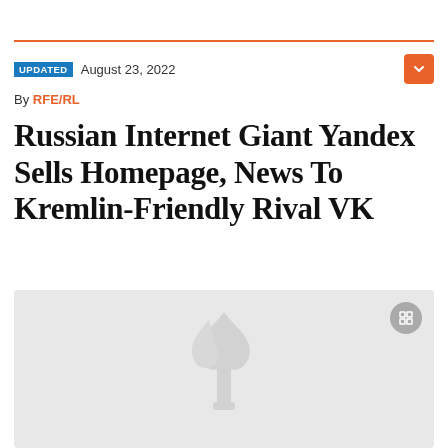UPDATED  August 23, 2022
By RFE/RL
Russian Internet Giant Yandex Sells Homepage, News To Kremlin-Friendly Rival VK
[Figure (photo): Gray placeholder image with RFE/RL watermark logo (torch and flame), with an expand/fullscreen button in the top right corner]